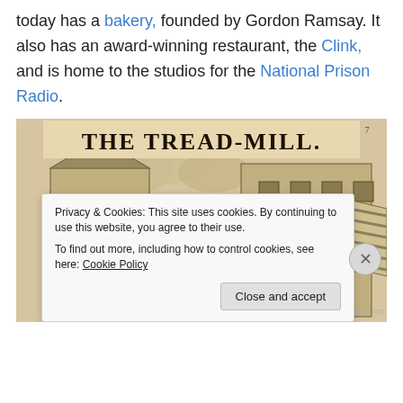today has a bakery, founded by Gordon Ramsay. It also has an award-winning restaurant, the Clink, and is home to the studios for the National Prison Radio.
[Figure (illustration): A sepia-toned historical illustration titled 'THE TREAD-MILL.' showing two buildings with a large angled treadmill structure between them with a striped awning.]
Privacy & Cookies: This site uses cookies. By continuing to use this website, you agree to their use.
To find out more, including how to control cookies, see here: Cookie Policy
Close and accept